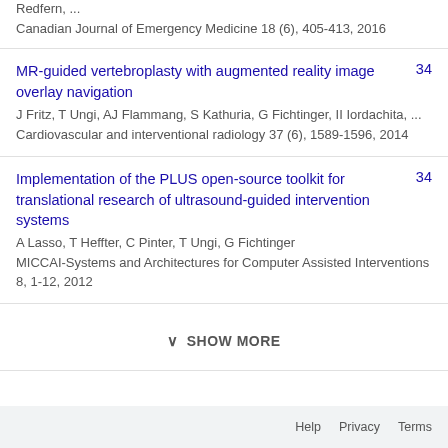Redfern, ...
Canadian Journal of Emergency Medicine 18 (6), 405-413, 2016
MR-guided vertebroplasty with augmented reality image overlay navigation
J Fritz, T Ungi, AJ Flammang, S Kathuria, G Fichtinger, II Iordachita, ...
Cardiovascular and interventional radiology 37 (6), 1589-1596, 2014
34
Implementation of the PLUS open-source toolkit for translational research of ultrasound-guided intervention systems
A Lasso, T Heffter, C Pinter, T Ungi, G Fichtinger
MICCAI-Systems and Architectures for Computer Assisted Interventions 8, 1-12, 2012
34
SHOW MORE
Help   Privacy   Terms